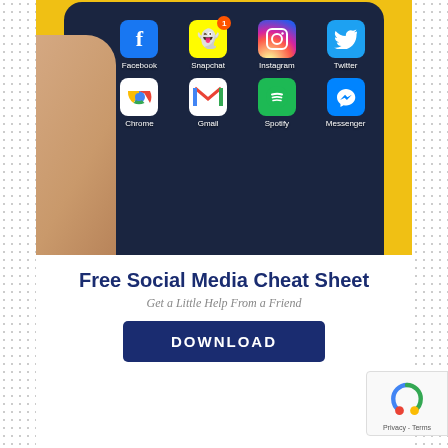[Figure (photo): A hand holding a smartphone displaying social media app icons including Facebook, Snapchat, Instagram, Twitter, Chrome, Gmail, Spotify, and Messenger on a dark blue screen, with a yellow background.]
Free Social Media Cheat Sheet
Get a Little Help From a Friend
DOWNLOAD
Recent Posts